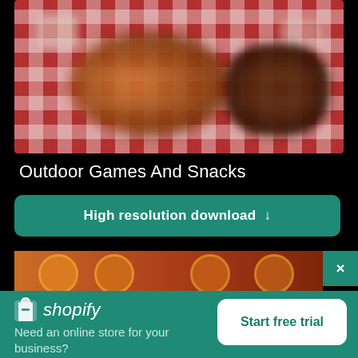[Figure (photo): Blurred photo of outdoor food/snacks on a red and white checkered background]
Outdoor Games And Snacks
High resolution download ↓
[Figure (photo): Partial view of a second food image strip, showing orange/red circular food items]
×
[Figure (logo): Shopify logo with shopping bag icon and italic text]
Need an online store for your business?
Start free trial